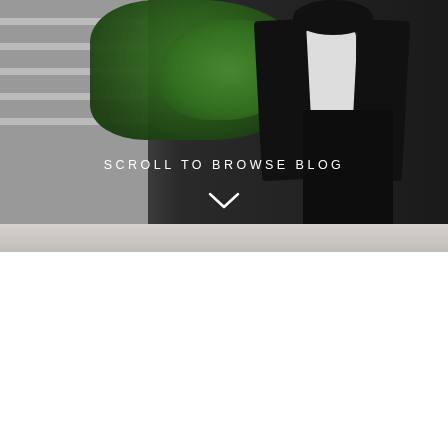[Figure (photo): Full-width photo of a person wearing a dark blazer over a white shirt and black pants, standing on outdoor steps with greenery/shrubs behind them. Text overlay reads SCROLL TO BROWSE BLOG with a chevron arrow below.]
SCROLL TO BROWSE BLOG
PAULA BRENNAN
HOW TO SAVE TIME USING DICTATION